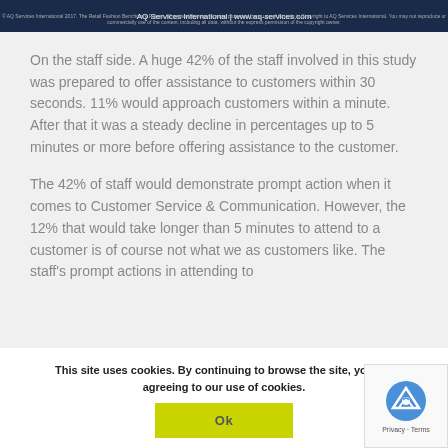AQ Services International | www.aq-services.com
On the staff side. A huge 42% of the staff involved in this study was prepared to offer assistance to customers within 30 seconds. 11% would approach customers within a minute. After that it was a steady decline in percentages up to 5 minutes or more before offering assistance to the customer.
The 42% of staff would demonstrate prompt action when it comes to Customer Service & Communication. However, the 12% that would take longer than 5 minutes to attend to a customer is of course not what we as customers like. The staff's prompt actions in attending to
This site uses cookies. By continuing to browse the site, you are agreeing to our use of cookies.
Ok